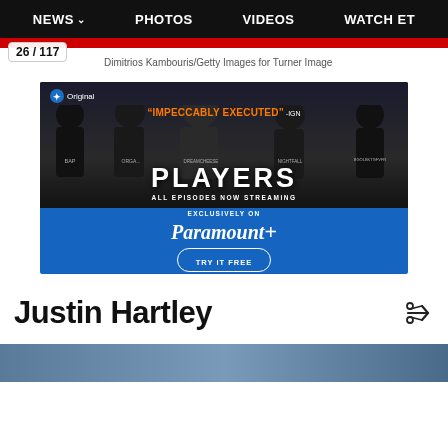NEWS   PHOTOS   VIDEOS   WATCH ET
Dimitrios Kambouris/Getty Images for Turner Image
26 / 117
[Figure (advertisement): Advertisement for 'Players' series on Paramount+. Shows esports players from behind wearing jerseys with names BAP, ORGA, DREAMCHEESE, NIGHTFALL, BGOLBKTGFVFR. Text reads: Original, 'IMPECCABLY EXECUTED' -IGN, PLAYERS, ALL EPISODES NOW STREAMING, EXCLUSIVELY ON Paramount+, TRY IT FREE]
Justin Hartley
[Figure (photo): Partial photo of Justin Hartley at bottom of page, cropped]